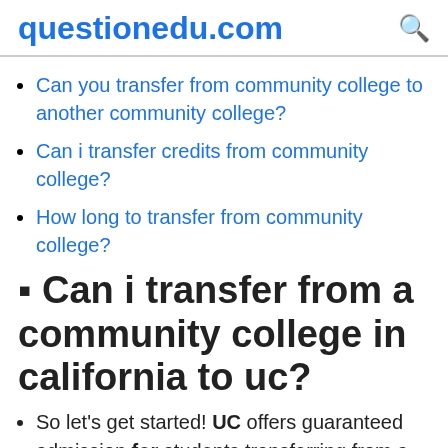questionedu.com
Can you transfer from community college to another community college?
Can i transfer credits from community college?
How long to transfer from community college?
🔷 Can i transfer from a community college in california to uc?
So let's get started! UC offers guaranteed admission for students transferring from a